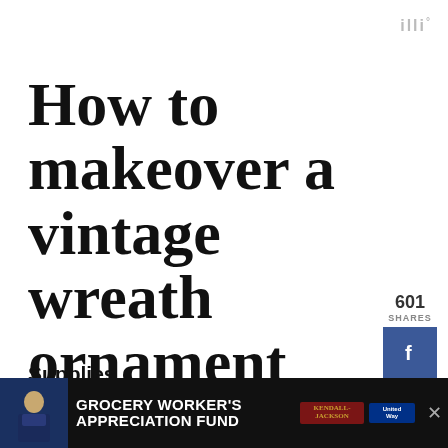illi°
How to makeover a vintage wreath ornament
Supplies
Tiny animal figurine – mine is from goodwill (I think from someone
[Figure (infographic): Social share sidebar with 601 shares count, Facebook button, Twitter button, red save/heart button, 602 count, and share icon]
[Figure (infographic): Advertisement bar: Grocery Worker's Appreciation Fund with Kendall-Jackson and United Way logos]